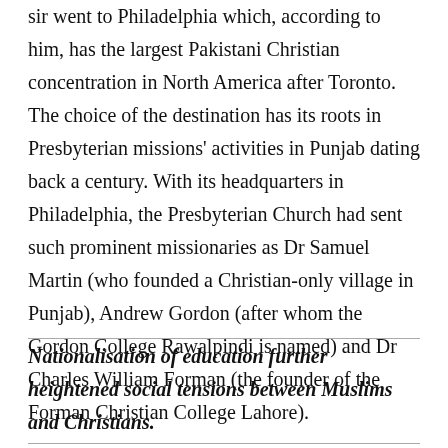sir went to Philadelphia which, according to him, has the largest Pakistani Christian concentration in North America after Toronto. The choice of the destination has its roots in Presbyterian missions' activities in Punjab dating back a century. With its headquarters in Philadelphia, the Presbyterian Church had sent such prominent missionaries as Dr Samuel Martin (who founded a Christian-only village in Punjab), Andrew Gordon (after whom the Gordon College Rawalpindi is named) and Dr Charles William Forman (the founder of the Forman Christian College Lahore).
Nationalisation of education further heightened social tensions between Muslims and Christians.